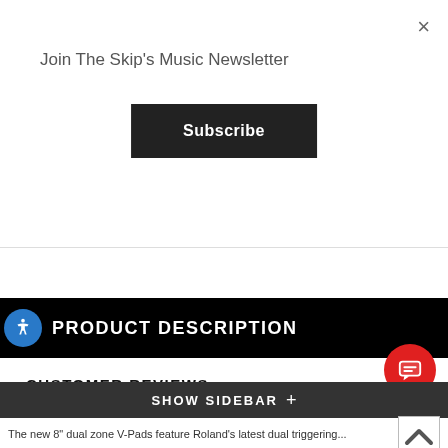×
Join The Skip's Music Newsletter
Subscribe
PRODUCT DESCRIPTION
CUSTOMER REVIEWS
SHIPPING & RETURNS
CA PROP 65
SHOW SIDEBAR +
The new 8" dual zone V-Pads feature Roland's latest dual triggering...